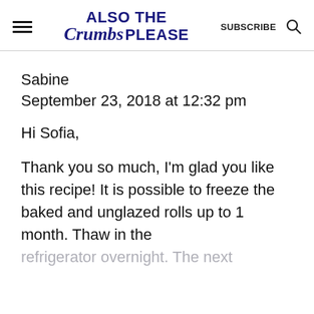ALSO THE Crumbs PLEASE   SUBSCRIBE
Sabine
September 23, 2018 at 12:32 pm
Hi Sofia,
Thank you so much, I'm glad you like this recipe! It is possible to freeze the baked and unglazed rolls up to 1 month. Thaw in the refrigerator overnight. The next